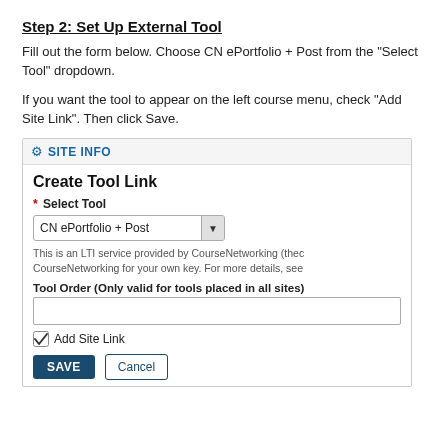Step 2: Set Up External Tool
Fill out the form below. Choose CN ePortfolio + Post from the "Select Tool" dropdown.
If you want the tool to appear on the left course menu, check "Add Site Link". Then click Save.
[Figure (screenshot): Screenshot of Sakai Site Info interface showing Create Tool Link form with CN ePortfolio + Post selected in the Select Tool dropdown, Tool Order field, Add Site Link checkbox checked, and Save/Cancel buttons.]